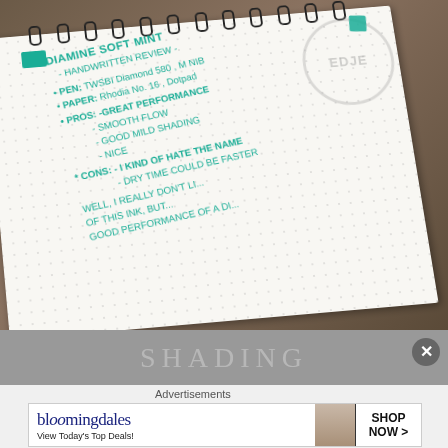[Figure (photo): A spiral-bound dot-grid notebook photographed at an angle on a wooden desk surface. Written in teal/mint fountain pen ink: 'Diamine Soft Mint - Handwritten Review -', bullet points listing Pen: TWSBI Diamond 580, M Nib; Paper: Rhodia No. 16, Dotpad; Pros: Great performance, Smooth flow, Good mild shading, Nice; Cons: Dry time could be faster, I kind of hate the name; Well, I really don't like... of this ink, but... Good performance of a Di...'. A teal ink swatch square is visible. A watermark circle with 'EDJE' text is partially visible in upper right.]
[Figure (photo): Partial view of another notebook page below, showing faint text with shading demonstration.]
Advertisements
[Figure (screenshot): Bloomingdale's advertisement banner. Shows 'bloomingdales' logo in navy serif font, tagline 'View Today's Top Deals!', image of woman in wide-brim hat, and 'SHOP NOW >' call-to-action button in a bordered box.]